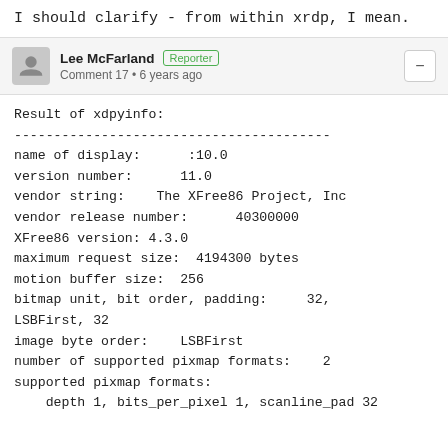I should clarify - from within xrdp, I mean.
Lee McFarland [Reporter] Comment 17 • 6 years ago
Result of xdpyinfo:
----------------------------------------
name of display:      :10.0
version number:      11.0
vendor string:    The XFree86 Project, Inc
vendor release number:      40300000
XFree86 version: 4.3.0
maximum request size:  4194300 bytes
motion buffer size:  256
bitmap unit, bit order, padding:     32, LSBFirst, 32
image byte order:    LSBFirst
number of supported pixmap formats:    2
supported pixmap formats:
    depth 1, bits_per_pixel 1, scanline_pad 32